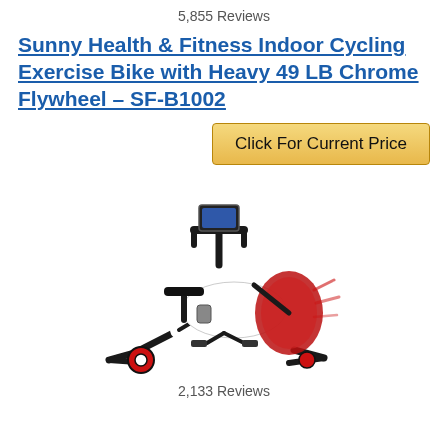5,855 Reviews
Sunny Health & Fitness Indoor Cycling Exercise Bike with Heavy 49 LB Chrome Flywheel – SF-B1002
[Figure (other): Golden button labeled 'Click For Current Price']
[Figure (photo): Photo of a Sunny Health & Fitness indoor cycling exercise bike (SF-B1002) with white frame, black handlebars, seat, and pedals, red accent flywheel cover]
2,133 Reviews